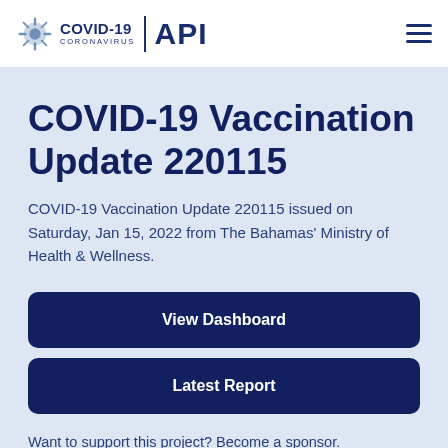COVID-19 CORONAVIRUS API
COVID-19 Vaccination Update 220115
COVID-19 Vaccination Update 220115 issued on Saturday, Jan 15, 2022 from The Bahamas' Ministry of Health & Wellness.
View Dashboard
Latest Report
Want to support this project? Become a sponsor.